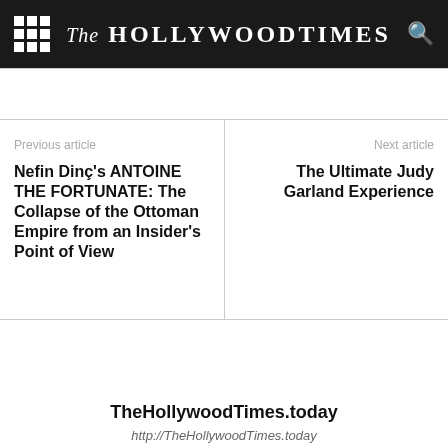The Hollywood Times
Previous article
Nefin Dinç's ANTOINE THE FORTUNATE: The Collapse of the Ottoman Empire from an Insider's Point of View
Next article
The Ultimate Judy Garland Experience
TheHollywoodTimes.today
http://TheHollywoodTimes.today